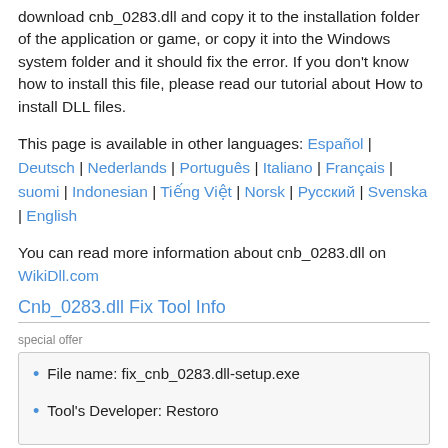download cnb_0283.dll and copy it to the installation folder of the application or game, or copy it into the Windows system folder and it should fix the error. If you don't know how to install this file, please read our tutorial about How to install DLL files.
This page is available in other languages: Español | Deutsch | Nederlands | Português | Italiano | Français | suomi | Indonesian | Tiếng Việt | Norsk | Русский | Svenska | English
You can read more information about cnb_0283.dll on WikiDll.com
Cnb_0283.dll Fix Tool Info
special offer
File name: fix_cnb_0283.dll-setup.exe
Tool's Developer: Restoro